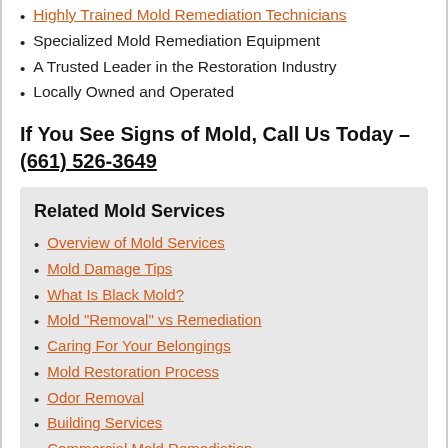Highly Trained Mold Remediation Technicians
Specialized Mold Remediation Equipment
A Trusted Leader in the Restoration Industry
Locally Owned and Operated
If You See Signs of Mold, Call Us Today – (661) 526-3649
Related Mold Services
Overview of Mold Services
Mold Damage Tips
What Is Black Mold?
Mold "Removal" vs Remediation
Caring For Your Belongings
Mold Restoration Process
Odor Removal
Building Services
Commercial Mold Remediation
Understanding Mold